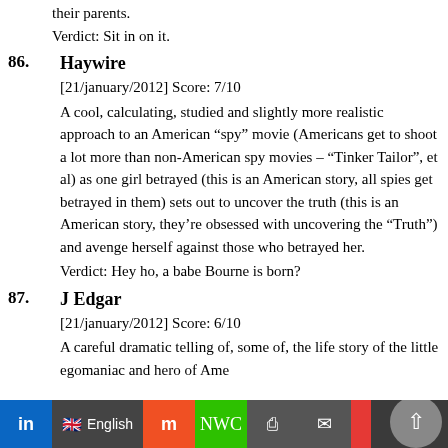their parents.
Verdict: Sit in on it.
86. Haywire
[21/january/2012] Score: 7/10
A cool, calculating, studied and slightly more realistic approach to an American “spy” movie (Americans get to shoot a lot more than non-American spy movies – “Tinker Tailor”, et al) as one girl betrayed (this is an American story, all spies get betrayed in them) sets out to uncover the truth (this is an American story, they’re obsessed with uncovering the “Truth”) and avenge herself against those who betrayed her.
Verdict: Hey ho, a babe Bourne is born?
87. J Edgar
[21/january/2012] Score: 6/10
A careful dramatic telling of, some of, the life story of the little egomaniac and hero of Ame